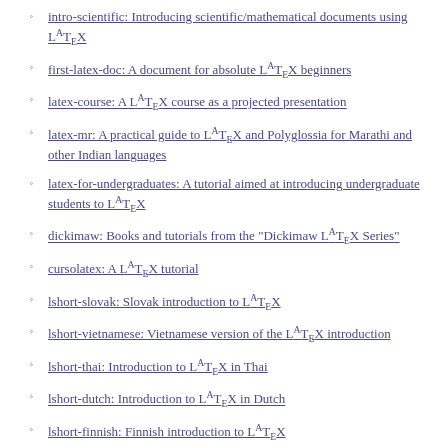intro-scientific: Introducing scientific/mathematical documents using LaTeX
first-latex-doc: A document for absolute LaTeX beginners
latex-course: A LaTeX course as a projected presentation
latex-mr: A practical guide to LaTeX and Polyglossia for Marathi and other Indian languages
latex-for-undergraduates: A tutorial aimed at introducing undergraduate students to LaTeX
dickimaw: Books and tutorials from the "Dickimaw LaTeX Series"
cursolatex: A LaTeX tutorial
lshort-slovak: Slovak introduction to LaTeX
lshort-vietnamese: Vietnamese version of the LaTeX introduction
lshort-thai: Introduction to LaTeX in Thai
lshort-dutch: Introduction to LaTeX in Dutch
lshort-finnish: Finnish introduction to LaTeX
lshort-turkish: Turkish introduction to LaTeX